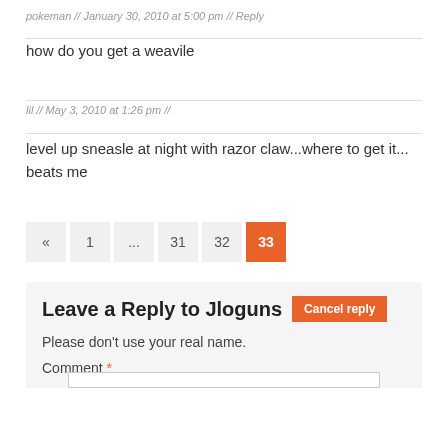pokeman // January 30, 2010 at 5:00 pm // Reply
how do you get a weavile
lil // May 3, 2010 at 1:26 pm //
level up sneasle at night with razor claw...where to get it... beats me
« 1 ... 31 32 33
Leave a Reply to Jloguns
Please don't use your real name.
Comment *